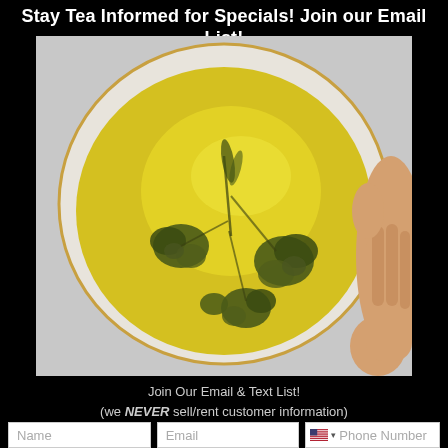Stay Tea Informed for Specials! Join our Email List!
[Figure (photo): Overhead view of a white ceramic bowl with gold rim held by a hand, containing golden-yellow tea with blooming flower buds (chrysanthemum tea)]
Join Our Email & Text List!
(we NEVER sell/rent customer information)